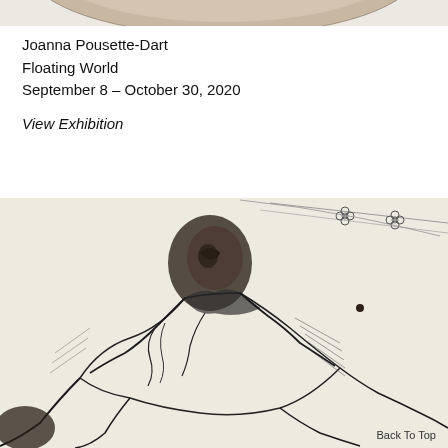[Figure (illustration): Partial view of a circular artwork or ceramic object against white, cropped at top of page]
Joanna Pousette-Dart
Floating World
September 8 – October 30, 2020
View Exhibition
[Figure (illustration): Ink drawing of a figure in a crouched or bent position, rendered in expressive black ink lines and wash on cream/off-white paper, with small flower-like shapes in the upper right background]
Back To Top